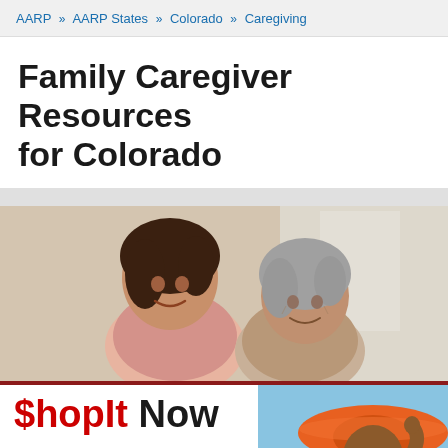AARP » AARP States » Colorado » Caregiving
Family Caregiver Resources for Colorado
[Figure (photo): Two women smiling together — a younger woman and an older woman, suggesting a caregiver and care recipient relationship, photographed indoors]
[Figure (infographic): ShopIt Now advertisement banner with red dollar sign, text: '$hopIt Now — Savings, Discounts, Product Information' and a woman in an orange hat on the right side]
[Figure (logo): Facebook icon (partial, blue square with white 'f')]